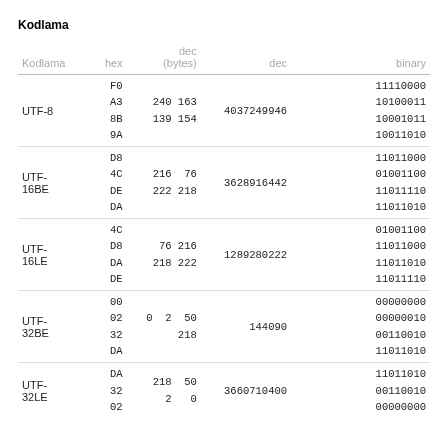Kodlama
| Kodlama | hex | dec
(bytes) | dec | binary |
| --- | --- | --- | --- | --- |
| UTF-8 | F0
A3
8B
9A | 240 163
139 154 | 4037249946 | 11110000
10100011
10001011
10011010 |
| UTF-
16BE | D8
4C
DE
DA | 216  76
222 218 | 3628916442 | 11011000
01001100
11011110
11011010 |
| UTF-
16LE | 4C
D8
DA
DE |  76 216
218 222 | 1289280222 | 01001100
11011000
11011010
11011110 |
| UTF-
32BE | 00
02
32
DA |   0  2  50
       218 | 144090 | 00000000
00000010
00110010
11011010 |
| UTF-
32LE | DA
32
02 | 218  50
  2   0 | 3660710400 | 11011010
00110010
00000000 |